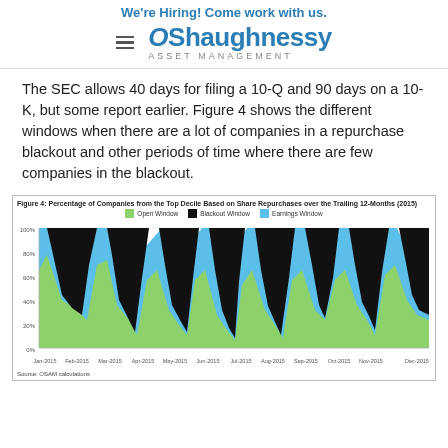We're Hiring! Come work with us.
[Figure (logo): O'Shaughnessy Asset Management logo with hamburger menu icon]
The SEC allows 40 days for filing a 10-Q and 90 days on a 10-K, but some report earlier. Figure 4 shows the different windows when there are a lot of companies in a repurchase blackout and other periods of time where there are few companies in the blackout.
[Figure (area-chart): Stacked area chart showing percentage of companies from top decile in Open Window, Blackout Window, and Earnings Window throughout 2015. The chart shows cyclical patterns with blackout periods occurring around earnings seasons.]
Source: OSAM calculations